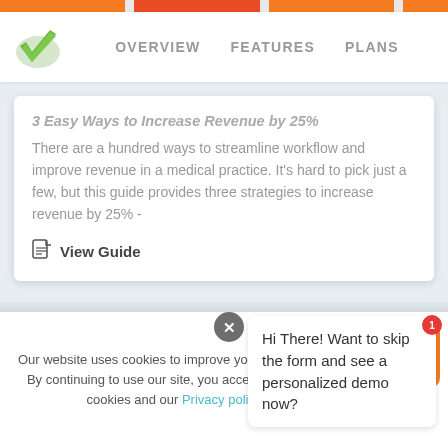OVERVIEW   FEATURES   PLANS
3 Easy Ways to Increase Revenue by 25%
There are a hundred ways to streamline workflow and improve revenue in a medical practice. It's hard to pick just a few, but this guide provides three strategies to increase revenue by 25% -
View Guide
Hi There! Want to skip the form and see a personalized demo now?
Our website uses cookies to improve your experience. By continuing to use our site, you accept the use of cookies and our Privacy policy